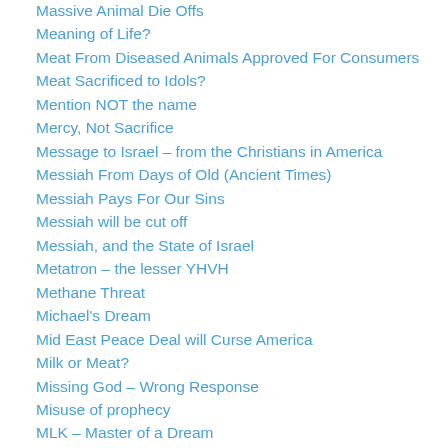Massive Animal Die Offs
Meaning of Life?
Meat From Diseased Animals Approved For Consumers
Meat Sacrificed to Idols?
Mention NOT the name
Mercy, Not Sacrifice
Message to Israel – from the Christians in America
Messiah From Days of Old (Ancient Times)
Messiah Pays For Our Sins
Messiah will be cut off
Messiah, and the State of Israel
Metatron – the lesser YHVH
Methane Threat
Michael's Dream
Mid East Peace Deal will Curse America
Milk or Meat?
Missing God – Wrong Response
Misuse of prophecy
MLK – Master of a Dream
Modern Slave trade – Clue to Mystery Babylon